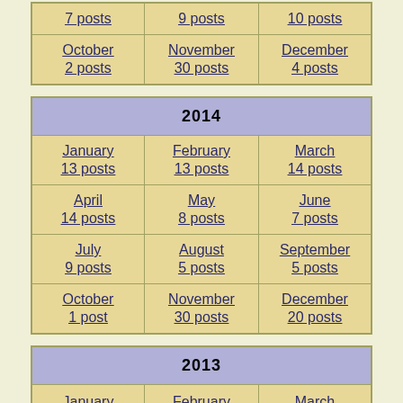|  |  |  |
| --- | --- | --- |
| 7 posts | 9 posts | 10 posts |
| October
2 posts | November
30 posts | December
4 posts |
| 2014 |
| --- |
| January
13 posts | February
13 posts | March
14 posts |
| April
14 posts | May
8 posts | June
7 posts |
| July
9 posts | August
5 posts | September
5 posts |
| October
1 post | November
30 posts | December
20 posts |
| 2013 |
| --- |
| January | February | March |